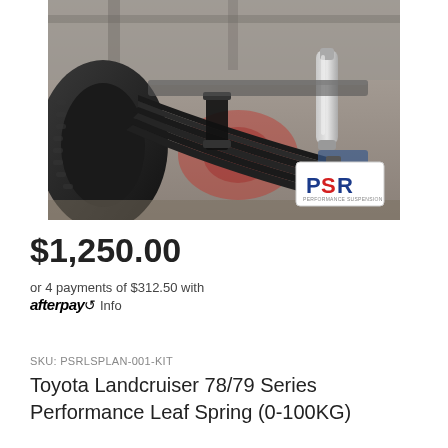[Figure (photo): Underside view of a 4WD vehicle showing black leaf spring assembly with a silver shock absorber. A PSR logo badge is visible in the bottom right corner of the image.]
$1,250.00
or 4 payments of $312.50 with afterpay Info
SKU: PSRLSPLAN-001-KIT
Toyota Landcruiser 78/79 Series Performance Leaf Spring (0-100KG)